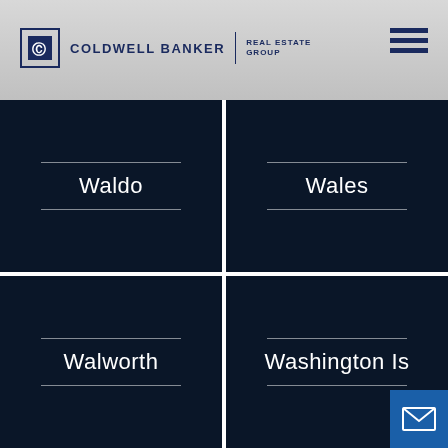[Figure (logo): Coldwell Banker Real Estate Group logo with CB icon and text]
[Figure (infographic): Grid of four dark navy location tiles: Waldo, Wales, Walworth, Washington Is]
[Figure (infographic): Blue email/envelope button in bottom right corner]